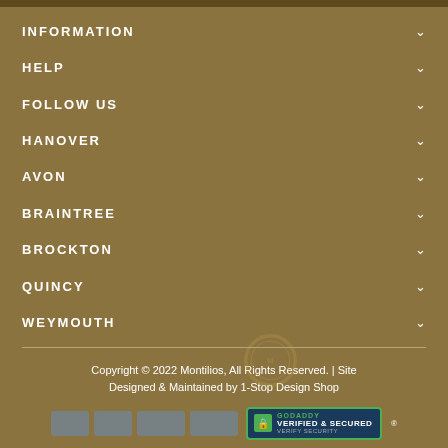INFORMATION
HELP
FOLLOW US
HANOVER
AVON
BRAINTREE
BROCKTON
QUINCY
WEYMOUTH
Copyright © 2022 Montilios, All Rights Reserved. | Site Designed & Maintained by 1-Stop Design Shop